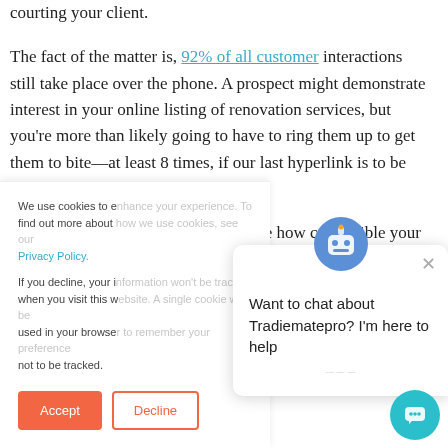courting your client.
The fact of the matter is, 92% of all customer interactions still take place over the phone. A prospect might demonstrate interest in your online listing of renovation services, but you're more than likely going to have to ring them up to get them to bite—at least 8 times, if our last hyperlink is to be believed.
Much like dating, you'll want to gauge how compatible your products and services are with your prospect's internal operations. A simple Google search might do
We use cookies to enhance your experience. To find out more about how we use cookies, see our Privacy Policy.

If you decline, your information won't be tracked when you visit this website. A single cookie will be used in your browser to remember your preference not to be tracked.
Want to chat about Tradiematepro? I'm here to help